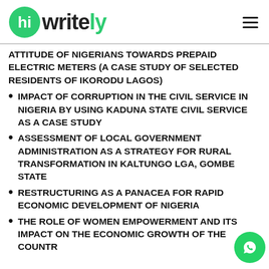writely
ATTITUDE OF NIGERIANS TOWARDS PREPAID ELECTRIC METERS (A CASE STUDY OF SELECTED RESIDENTS OF IKORODU LAGOS)
IMPACT OF CORRUPTION IN THE CIVIL SERVICE IN NIGERIA BY USING KADUNA STATE CIVIL SERVICE AS A CASE STUDY
ASSESSMENT OF LOCAL GOVERNMENT ADMINISTRATION AS A STRATEGY FOR RURAL TRANSFORMATION IN KALTUNGO LGA, GOMBE STATE
RESTRUCTURING AS A PANACEA FOR RAPID ECONOMIC DEVELOPMENT OF NIGERIA
THE ROLE OF WOMEN EMPOWERMENT AND ITS IMPACT ON THE ECONOMIC GROWTH OF THE COUNTRY